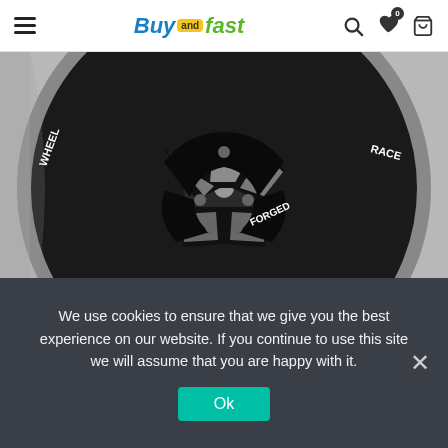BuyAndFast navigation bar with hamburger menu, logo, search, wishlist, and cart icons
[Figure (photo): Close-up photo of a black and silver forged alloy car wheel rim. The wheel has multi-spoke design with machined silver accents and text reading FORGED on one of the spokes.]
New 20 inch 20×9.0 5×114.3 ET35 alloy car wheel rims
★★★★☆ (4 out of 5 stars rating)
We use cookies to ensure that we give you the best experience on our website. If you continue to use this site we will assume that you are happy with it.